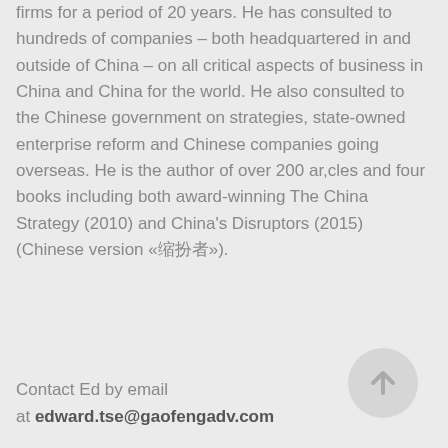firms for a period of 20 years. He has consulted to hundreds of companies – both headquartered in and outside of China – on all critical aspects of business in China and China for the world. He also consulted to the Chinese government on strategies, state-owned enterprise reform and Chinese companies going overseas. He is the author of over 200 ar,cles and four books including both award-winning The China Strategy (2010) and China's Disruptors (2015) (Chinese version «颠覆者»).
Contact Ed by email at edward.tse@gaofengadv.com